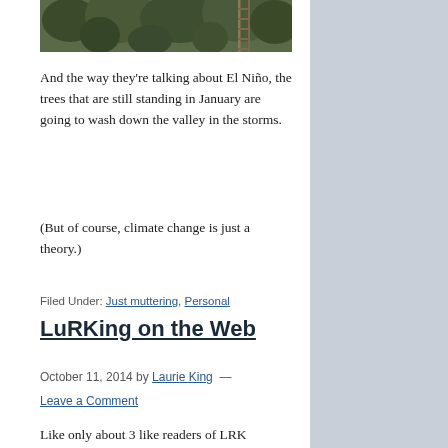[Figure (photo): Aerial or forest photo showing trees and what appears to be a ladder or structure among dense green forest]
And the way they're talking about El Niño, the trees that are still standing in January are going to wash down the valley in the storms.
(But of course, climate change is just a theory.)
Filed Under: Just muttering, Personal
LuRKing on the Web
October 11, 2014 by Laurie King — Leave a Comment
Like only about 3 like readers of LRK